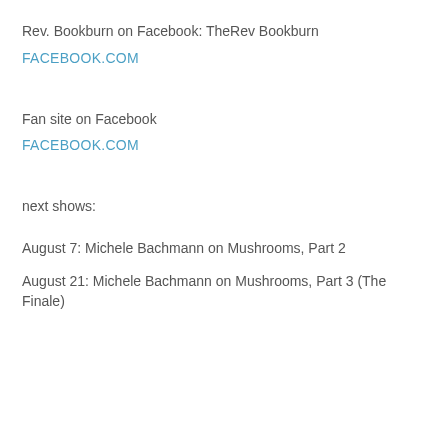Rev. Bookburn on Facebook: TheRev Bookburn
FACEBOOK.COM
Fan site on Facebook
FACEBOOK.COM
next shows:
August 7: Michele Bachmann on Mushrooms, Part 2
August 21: Michele Bachmann on Mushrooms, Part 3 (The Finale)